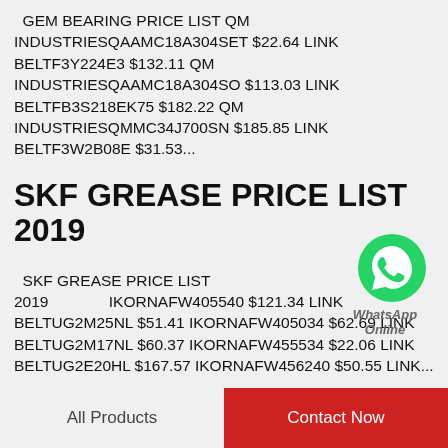GEM BEARING PRICE LIST QM INDUSTRIESQAAMC18A304SET $22.64 LINK BELTF3Y224E3 $132.11 QM INDUSTRIESQAAMC18A304SO $113.03 LINK BELTFB3S218EK75 $182.22 QM INDUSTRIESQMMC34J700SN $185.85 LINK BELTF3W2B08E $31.53...
SKF GREASE PRICE LIST 2019
[Figure (logo): WhatsApp green chat bubble icon with WhatsApp Online label]
SKF GREASE PRICE LIST 2019 IKORNAFW405540 $121.34 LINK BELTUG2M25NL $51.41 IKORNAFW405034 $62.69 LINK BELTUG2M17NL $60.37 IKORNAFW455534 $22.06 LINK BELTUG2E20HL $167.57 IKORNAFW456240 $50.55 LINK...
All Products   Contact Now